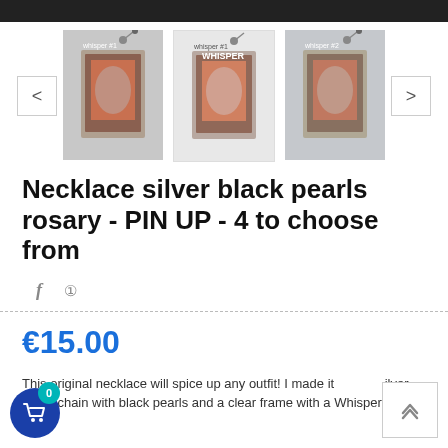[Figure (screenshot): E-commerce product page showing three thumbnail images of silver black pearl rosary necklaces with PIN UP magazine pendant, navigation arrows on each side]
Necklace silver black pearls rosary - PIN UP - 4 to choose from
[Figure (infographic): Social share icons: Facebook (f) and Pinterest (pin) icons]
€15.00
This original necklace will spice up any outfit! I made it with a silver metal chain with black pearls and a clear frame with a Whisper